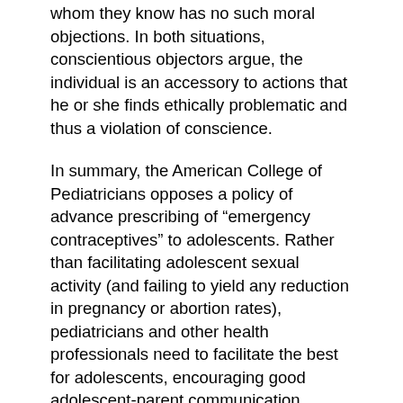whom they know has no such moral objections. In both situations, conscientious objectors argue, the individual is an accessory to actions that he or she finds ethically problematic and thus a violation of conscience.
In summary, the American College of Pediatricians opposes a policy of advance prescribing of “emergency contraceptives” to adolescents. Rather than facilitating adolescent sexual activity (and failing to yield any reduction in pregnancy or abortion rates), pediatricians and other health professionals need to facilitate the best for adolescents, encouraging good adolescent-parent communication, teaching adolescents the benefits of delaying sexual activity until marriage, and teaching them how to avoid non-marital consensual sex as well as situations that might result in coerced sex. Pediatricians, other health professionals, parents and educators should also encourage the use of sexual risk elimination education programs.